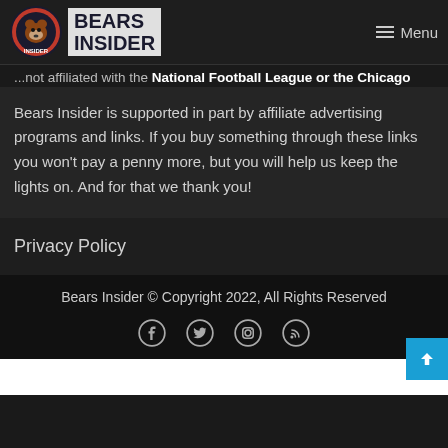Bears Insider — not affiliated with the National Football League or the Chicago Bears
Bears Insider is supported in part by affiliate advertising programs and links. If you buy something through these links you won't pay a penny more, but you will help us keep the lights on. And for that we thank you!
Privacy Policy
Bears Insider © Copyright 2022, All Rights Reserved